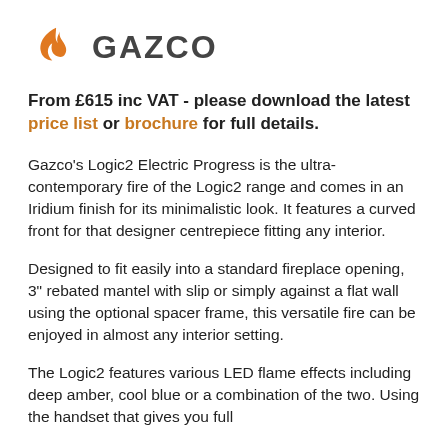[Figure (logo): Gazco brand logo: orange flame/swirl icon followed by bold GAZCO text in dark grey]
From £615 inc VAT - please download the latest price list or brochure for full details.
Gazco's Logic2 Electric Progress is the ultra-contemporary fire of the Logic2 range and comes in an Iridium finish for its minimalistic look. It features a curved front for that designer centrepiece fitting any interior.
Designed to fit easily into a standard fireplace opening, 3" rebated mantel with slip or simply against a flat wall using the optional spacer frame, this versatile fire can be enjoyed in almost any interior setting.
The Logic2 features various LED flame effects including deep amber, cool blue or a combination of the two. Using the handset that gives you full